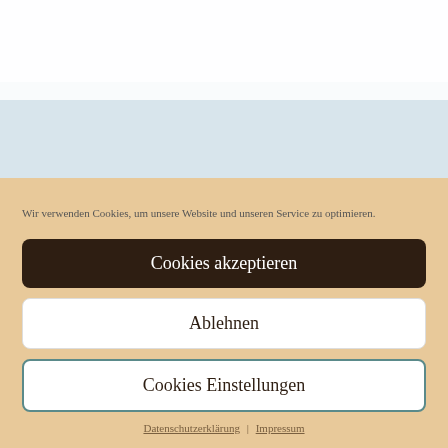[Figure (illustration): Top section with light blue-grey background containing a repeating pattern of stylized T-shaped or bracket-like icons in white/light grey forming a decorative tile pattern. The upper portion is mostly white fading into the tiled pattern.]
Wir verwenden Cookies, um unsere Website und unseren Service zu optimieren.
Cookies akzeptieren
Ablehnen
Cookies Einstellungen
Datenschutzerklärung  Impressum